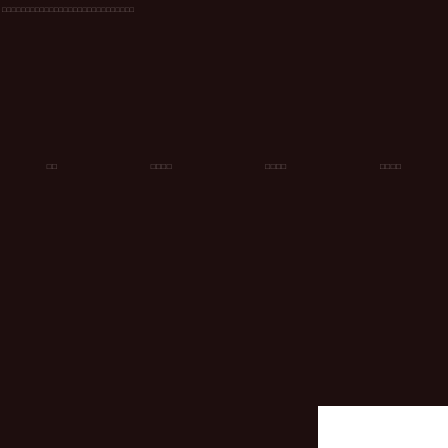□□□□□□□□□□□□□□□□□□□□
□□  □□□□  □□□□  □□□□
[Figure (other): White rectangle in bottom-right corner on dark brown background]